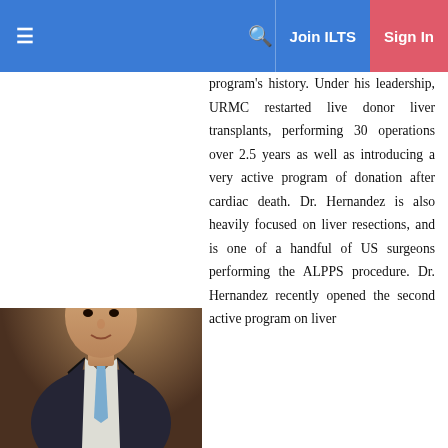≡   🔍   Join ILTS   Sign In
[Figure (photo): Professional headshot of Dr. Hernandez, a man in a dark suit with a light blue tie, against a blurred background]
program's history. Under his leadership, URMC restarted live donor liver transplants, performing 30 operations over 2.5 years as well as introducing a very active program of donation after cardiac death. Dr. Hernandez is also heavily focused on liver resections, and is one of a handful of US surgeons performing the ALPPS procedure. Dr. Hernandez recently opened the second active program on liver